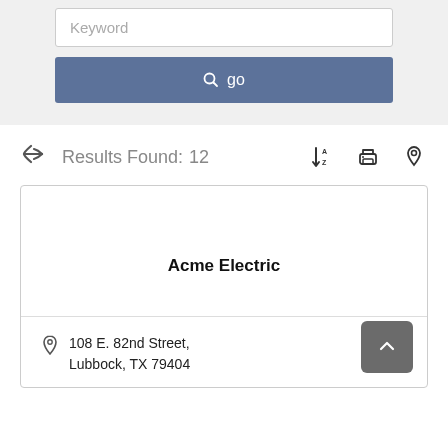[Figure (screenshot): Keyword search input field with placeholder text 'Keyword']
[Figure (screenshot): Blue 'go' button with magnifying glass icon]
Results Found: 12
Acme Electric
108 E. 82nd Street, Lubbock, TX 79404